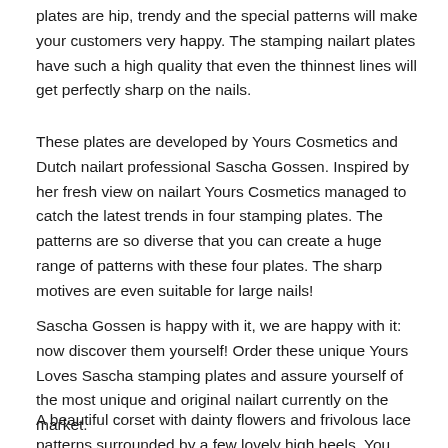plates are hip, trendy and the special patterns will make your customers very happy. The stamping nailart plates have such a high quality that even the thinnest lines will get perfectly sharp on the nails.
These plates are developed by Yours Cosmetics and Dutch nailart professional Sascha Gossen. Inspired by her fresh view on nailart Yours Cosmetics managed to catch the latest trends in four stamping plates. The patterns are so diverse that you can create a huge range of patterns with these four plates. The sharp motives are even suitable for large nails!
Sascha Gossen is happy with it, we are happy with it: now discover them yourself! Order these unique Yours Loves Sascha stamping plates and assure yourself of the most unique and original nailart currently on the market.
A beautiful corset with dainty flowers and frivolous lace patterns surrounded by a few lovely high heels. You give